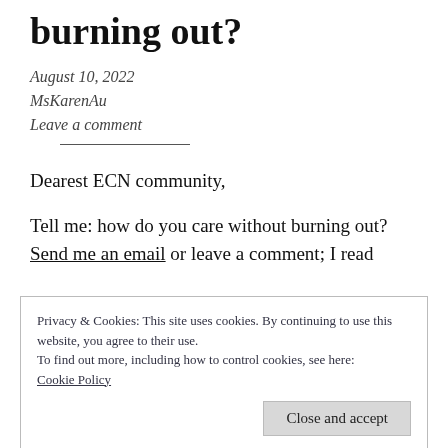burning out?
August 10, 2022
MsKarenAu
Leave a comment
Dearest ECN community,
Tell me: how do you care without burning out? Send me an email or leave a comment; I read
Privacy & Cookies: This site uses cookies. By continuing to use this website, you agree to their use.
To find out more, including how to control cookies, see here:
Cookie Policy
Close and accept
off from work in order to rest and unfrazzle